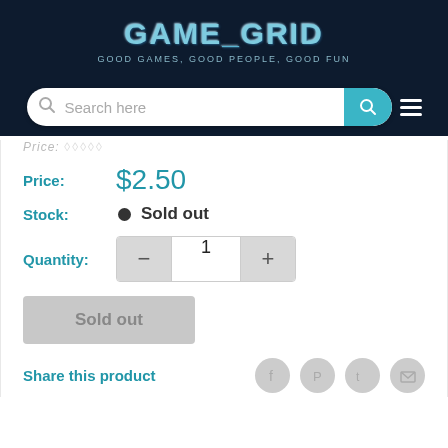[Figure (logo): GameGrid logo with text 'GOOD GAMES, GOOD PEOPLE, GOOD FUN' on dark navy background]
[Figure (screenshot): Search bar with 'Search here' placeholder and teal search button, on dark navy background]
Price: $2.50
Stock: ● Sold out
Quantity: − 1 +
Sold out
Share this product